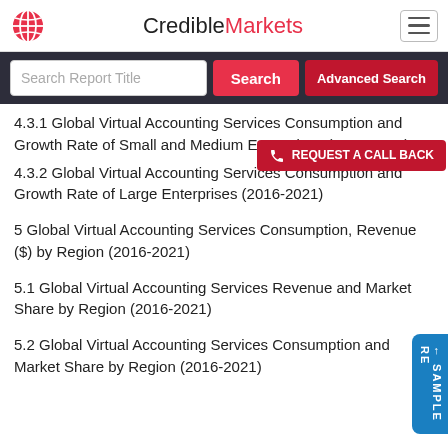CredibleMarkets
4.3.1 Global Virtual Accounting Services Consumption and Growth Rate of Small and Medium Enterprises (2016-2021)
4.3.2 Global Virtual Accounting Services Consumption and Growth Rate of Large Enterprises (2016-2021)
5 Global Virtual Accounting Services Consumption, Revenue ($) by Region (2016-2021)
5.1 Global Virtual Accounting Services Revenue and Market Share by Region (2016-2021)
5.2 Global Virtual Accounting Services Consumption and Market Share by Region (2016-2021)